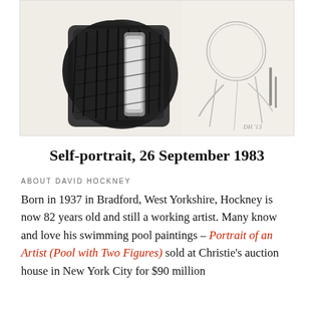[Figure (photo): A charcoal or pencil self-portrait drawing by David Hockney, showing a dark heavily shaded figure on the left and a lightly sketched figure on the right, dated 1983.]
Self-portrait, 26 September 1983
ABOUT DAVID HOCKNEY
Born in 1937 in Bradford, West Yorkshire, Hockney is now 82 years old and still a working artist. Many know and love his swimming pool paintings – Portrait of an Artist (Pool with Two Figures) sold at Christie's auction house in New York City for $90 million